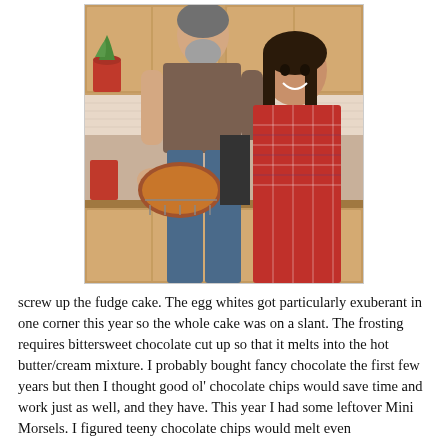[Figure (photo): A man and a young woman standing together in a kitchen. The man is holding a roasted turkey or chicken on a rack. The woman is smiling at the camera and wearing a red plaid shirt. Kitchen cabinets and a red flower pot are visible in the background.]
screw up the fudge cake. The egg whites got particularly exuberant in one corner this year so the whole cake was on a slant. The frosting requires bittersweet chocolate cut up so that it melts into the hot butter/cream mixture. I probably bought fancy chocolate the first few years but then I thought good ol' chocolate chips would save time and work just as well, and they have. This year I had some leftover Mini Morsels. I figured teeny chocolate chips would melt even